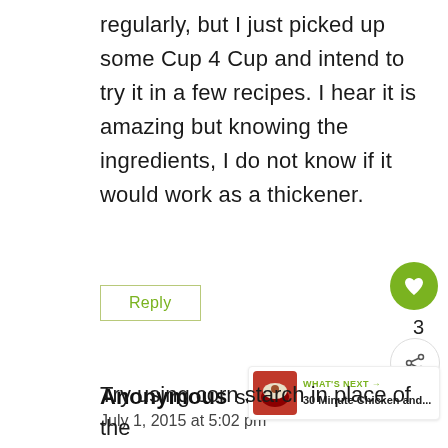regularly, but I just picked up some Cup 4 Cup and intend to try it in a few recipes. I hear it is amazing but knowing the ingredients, I do not know if it would work as a thickener.
Reply
Anonymous says:
July 1, 2015 at 5:02 pm
Try using corn starch in place of the